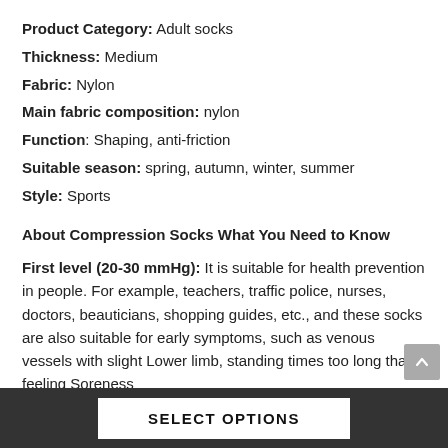Product Category: Adult socks
Thickness: Medium
Fabric: Nylon
Main fabric composition: nylon
Function: Shaping, anti-friction
Suitable season: spring, autumn, winter, summer
Style: Sports
About Compression Socks What You Need to Know
First level (20-30 mmHg): It is suitable for health prevention in people. For example, teachers, traffic police, nurses, doctors, beauticians, shopping guides, etc., and these socks are also suitable for early symptoms, such as venous vessels with slight Lower limb, standing times too long that feeling Soreness
SELECT OPTIONS